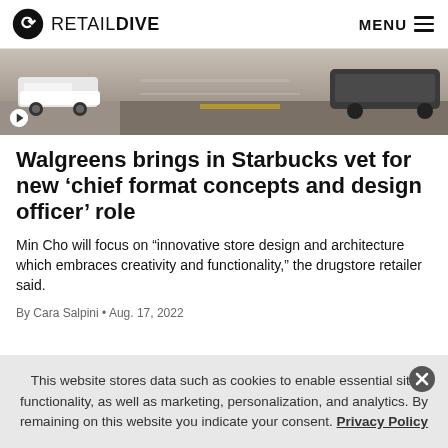RETAIL DIVE — MENU
[Figure (photo): Outdoor parking lot scene with a white pickup truck on the left and a dark SUV on the right, blurred motion in background, road and parking lot setting.]
Walgreens brings in Starbucks vet for new ‘chief format concepts and design officer’ role
Min Cho will focus on “innovative store design and architecture which embraces creativity and functionality,” the drugstore retailer said.
By Cara Salpini • Aug. 17, 2022
This website stores data such as cookies to enable essential site functionality, as well as marketing, personalization, and analytics. By remaining on this website you indicate your consent. Privacy Policy